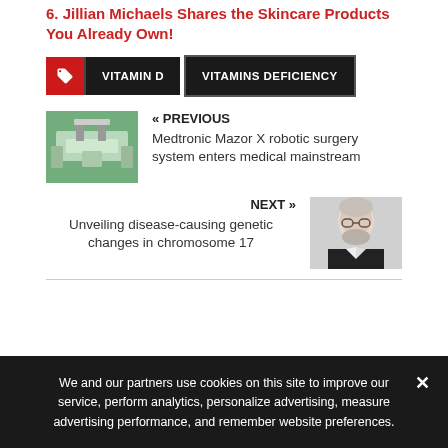6. Jillian Michaels Shares the Skincare Products You Already Own!
VITAMIN D   VITAMINS DEFICIENCY
« PREVIOUS
Medtronic Mazor X robotic surgery system enters medical mainstream
NEXT »
Unveiling disease-causing genetic changes in chromosome 17
We and our partners use cookies on this site to improve our service, perform analytics, personalize advertising, measure advertising performance, and remember website preferences.